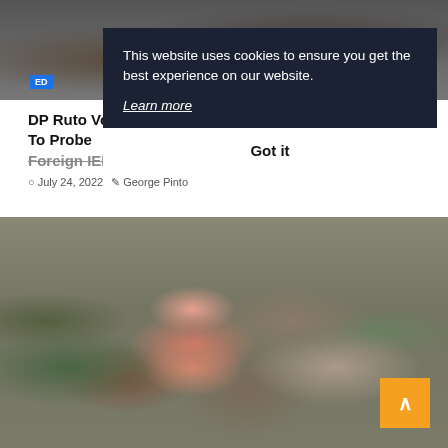[Figure (photo): Top strip photo of people, partially visible]
[Figure (other): Cookie consent overlay with dark navy background. Text: 'This website uses cookies to ensure you get the best experience on our website.' with 'Learn more' link and 'Got it' button.]
DP Ruto Vows To Probe Foreign IEBC Election Contractors
July 24, 2022   George Pinto
[Figure (photo): Photo of a man in pink shirt and yellow cap speaking into a microphone in front of a large crowd]